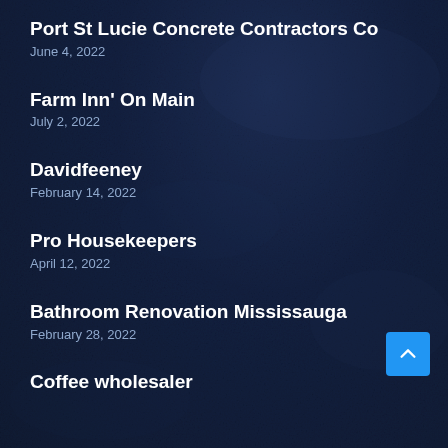Port St Lucie Concrete Contractors Co
June 4, 2022
Farm Inn' On Main
July 2, 2022
Davidfeeney
February 14, 2022
Pro Housekeepers
April 12, 2022
Bathroom Renovation Mississauga
February 28, 2022
Coffee wholesaler